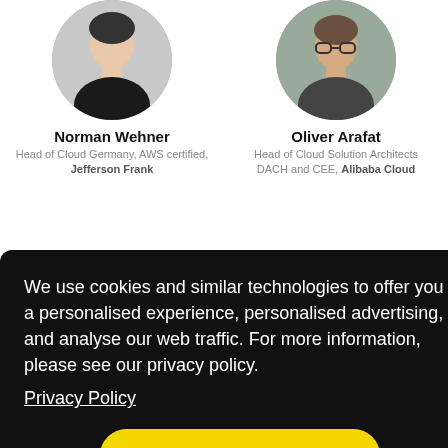[Figure (photo): Circular portrait photo of Norman Wehner, man in dark sweater]
Norman Wehner
Head of Cloud Germany, AWS certified, Jefferson Frank
[Figure (photo): Circular portrait photo of Oliver Arafat, man with glasses]
Oliver Arafat
Head of Cloud Solution Architects DACH and CEE, Alibaba Cloud
[Figure (photo): Circular grey placeholder avatar icon]
[Figure (photo): Circular portrait photo of a man in a suit]
We use cookies and similar technologies to offer you a personalised experience, personalised advertising, and analyse our web traffic. For more information, please see our privacy policy.
Privacy Policy
Got it!
Blockchain Enthusiast and Keynote
Head of Product Marketing, Tresorit